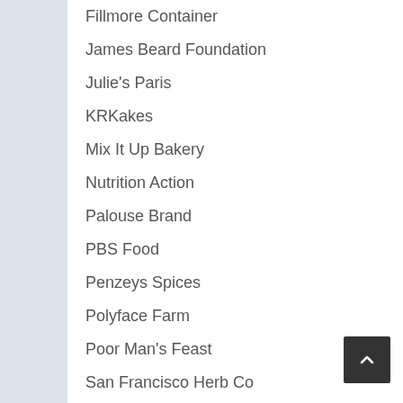Fillmore Container
James Beard Foundation
Julie's Paris
KRKakes
Mix It Up Bakery
Nutrition Action
Palouse Brand
PBS Food
Penzeys Spices
Polyface Farm
Poor Man's Feast
San Francisco Herb Co
Savory Spice
Seed Savers Exchange
SIS. BOOM. [BLOG!]
Specialty Bottle
The Bread Monk
The Great British Bake Off